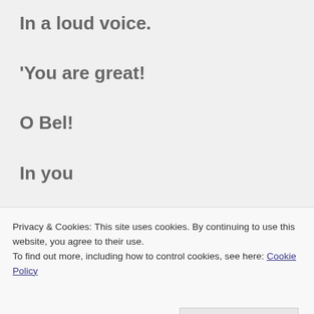In a loud voice.
'You are great!
O Bel!
In you
There is no deceit
At all!'"
Privacy & Cookies: This site uses cookies. By continuing to use this website, you agree to their use.
To find out more, including how to control cookies, see here: Cookie Policy
opened the doors to the temple. The king then